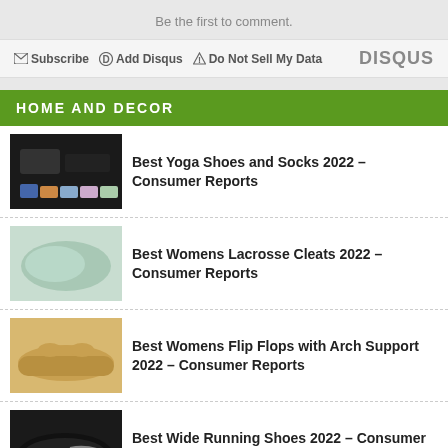Be the first to comment.
Subscribe  Add Disqus  Do Not Sell My Data  DISQUS
HOME AND DECOR
Best Yoga Shoes and Socks 2022 – Consumer Reports
Best Womens Lacrosse Cleats 2022 – Consumer Reports
Best Womens Flip Flops with Arch Support 2022 – Consumer Reports
Best Wide Running Shoes 2022 – Consumer Reports
Best High Top Sneakers 2022 – Consumer